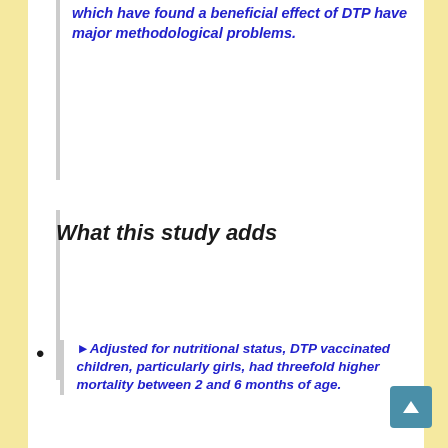which have found a beneficial effect of DTP have major methodological problems.
What this study adds
►Adjusted for nutritional status, DTP vaccinated children, particularly girls, had threefold higher mortality between 2 and 6 months of age.